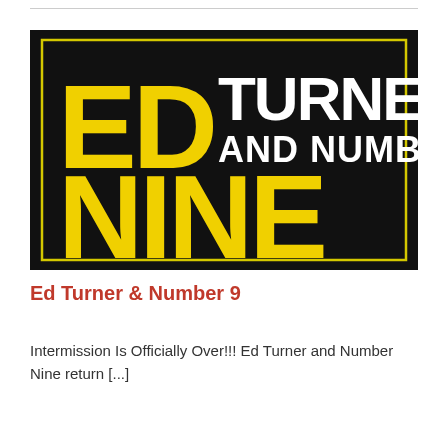[Figure (logo): Ed Turner and Number Nine band logo — black background with yellow block letters 'ED' and 'NINE' and white letters 'TURNER AND NUMBER', enclosed in a yellow border rectangle]
Ed Turner & Number 9
Intermission Is Officially Over!!! Ed Turner and Number Nine return [...]